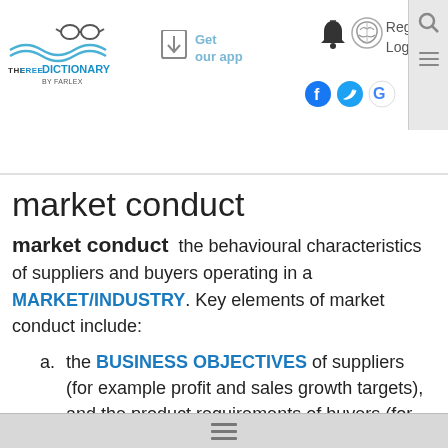[Figure (logo): The Free Dictionary by Farlex logo with glasses and wave icon]
market conduct
market conduct  the behavioural characteristics of suppliers and buyers operating in a MARKET/INDUSTRY. Key elements of market conduct include:
a.  the BUSINESS OBJECTIVES of suppliers (for example profit and sales growth targets), and the product requirements of buyers (for example low prices, product performance and sophistication);